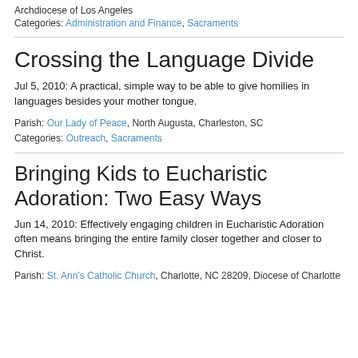Archdiocese of Los Angeles
Categories: Administration and Finance, Sacraments
Crossing the Language Divide
Jul 5, 2010: A practical, simple way to be able to give homilies in languages besides your mother tongue.
Parish: Our Lady of Peace, North Augusta, Charleston, SC
Categories: Outreach, Sacraments
Bringing Kids to Eucharistic Adoration: Two Easy Ways
Jun 14, 2010: Effectively engaging children in Eucharistic Adoration often means bringing the entire family closer together and closer to Christ.
Parish: St. Ann's Catholic Church, Charlotte, NC 28209, Diocese of Charlotte